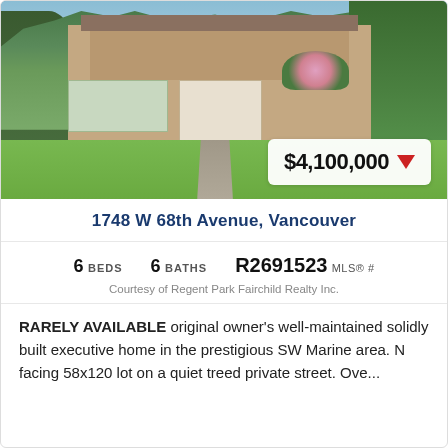[Figure (photo): Exterior photo of a large executive home at 1748 W 68th Avenue, Vancouver, with lush green lawn, trees, and pink flowering shrub. Price badge showing $4,100,000 with a red down arrow in the bottom right corner of the photo.]
1748 W 68th Avenue, Vancouver
6 BEDS   6 BATHS   R2691523 MLS® #
Courtesy of Regent Park Fairchild Realty Inc.
RARELY AVAILABLE original owner's well-maintained solidly built executive home in the prestigious SW Marine area. N facing 58x120 lot on a quiet treed private street. Ove...